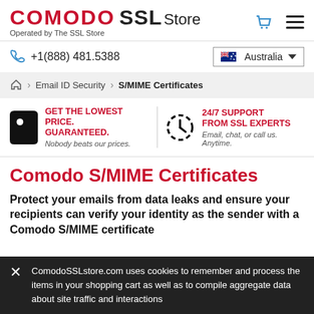COMODO SSL Store — Operated by The SSL Store
+1(888) 481.5388    Australia
Home > Email ID Security > S/MIME Certificates
GET THE LOWEST PRICE. GUARANTEED. Nobody beats our prices.  |  24/7 SUPPORT FROM SSL EXPERTS Email, chat, or call us. Anytime.
Comodo S/MIME Certificates
Protect your emails from data leaks and ensure your recipients can verify your identity as the sender with a Comodo S/MIME certificate
ComodoSSLstore.com uses cookies to remember and process the items in your shopping cart as well as to compile aggregate data about site traffic and interactions